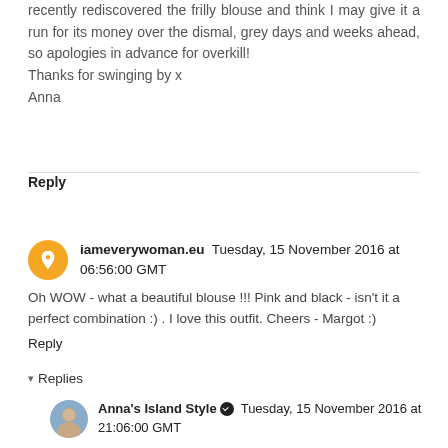recently rediscovered the frilly blouse and think I may give it a run for its money over the dismal, grey days and weeks ahead, so apologies in advance for overkill!
Thanks for swinging by x
Anna
Reply
iameverywoman.eu  Tuesday, 15 November 2016 at 06:56:00 GMT
Oh WOW - what a beautiful blouse !!! Pink and black - isn't it a perfect combination :) . I love this outfit. Cheers - Margot :)
Reply
▾  Replies
Anna's Island Style ✔  Tuesday, 15 November 2016 at 21:06:00 GMT
Am so pleased you like it Margot. It's a great pick-